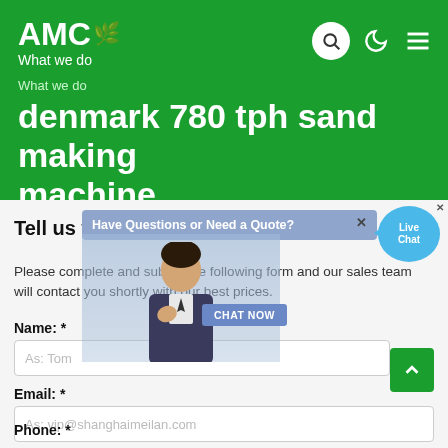AMC — What we do
denmark 780 tph sand making machine
[Figure (screenshot): Live chat popup overlay with agent photo, 'Have Questions or Need a Quote?' banner, CHAT NOW button, and Live Chat bubble]
Tell us what you are looking for?
Please complete and submit the following form and our sales team will contact you shortly with our best prices.
Name: *
As: Tom
Email: *
As: vip@shanghaimeilan.com
Phone: *